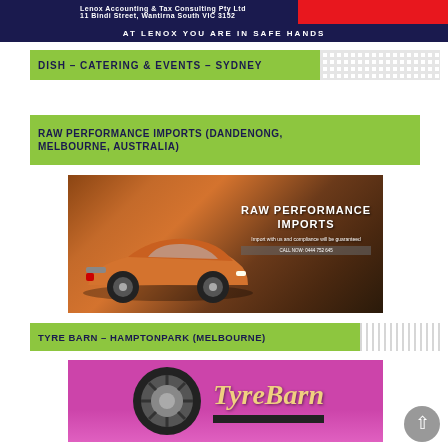[Figure (infographic): Lenox banner with dark blue background and red accent, text AT LENOX YOU ARE IN SAFE HANDS]
DISH – CATERING & EVENTS – SYDNEY
RAW PERFORMANCE IMPORTS (DANDENONG, MELBOURNE, AUSTRALIA)
[Figure (photo): Orange sports car (Toyota 86 style) with RAW PERFORMANCE IMPORTS overlay text and tagline. Import with us and compliance will be guaranteed. CALL NOW: 0444 752 645]
TYRE BARN – HAMPTONPARK (MELBOURNE)
[Figure (photo): TyreBarn store signage with pink/magenta background, wheel logo, and TyreBarn text in gold/cream lettering]